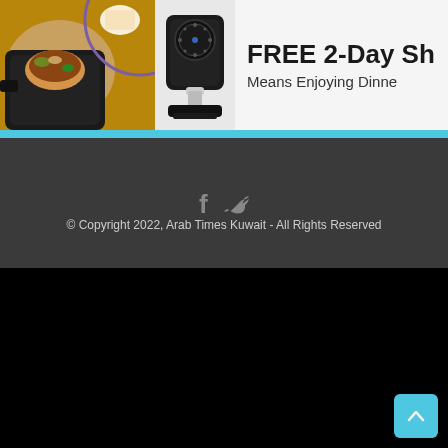[Figure (photo): Banner advertisement showing an air fryer with food on the left, a black air fryer appliance in the middle, and text 'FREE 2-Day Sh... Means Enjoying Dinne...' on the right on a light gray background]
[Figure (infographic): Social media icons - Facebook (f) and Twitter bird icon in gray]
© Copyright 2022, Arab Times Kuwait - All Rights Reserved